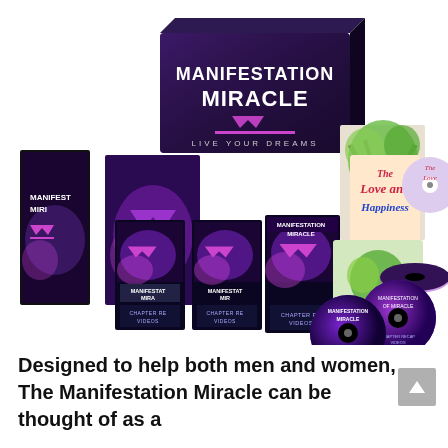[Figure (photo): Product bundle image for 'Manifestation Miracle - Live Your Dreams' showing a boxed set, multiple books/DVDs including chapter recap videos, and bonus CDs titled 'The Love and Happiness' and 'Abundant Wealth', all with purple galaxy-themed branding and a stylized M logo.]
Designed to help both men and women, The Manifestation Miracle can be thought of as a